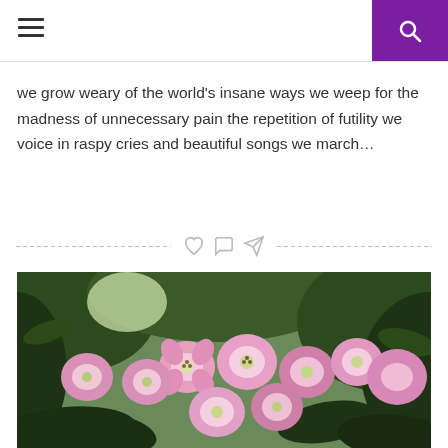[hamburger menu icon] [search icon on purple background]
we grow weary of the world’s insane ways we weep for the madness of unnecessary pain the repetition of futility we voice in raspy cries and beautiful songs we march…
[Figure (other): Divider row with hatched lines on each side and three social icons (heart, comment bubble, share/paper plane) in the center]
[Figure (photo): Photograph of pink and white mountain laurel flowers in bloom with green foliage in the background]